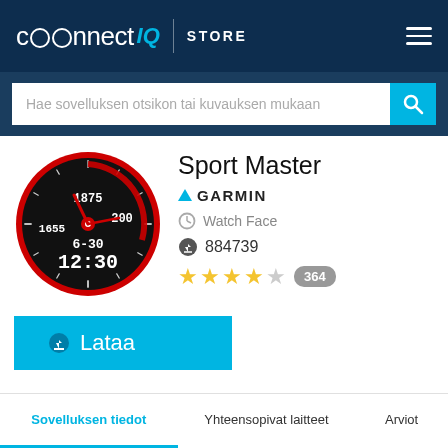connect IQ STORE
Hae sovelluksen otsikon tai kuvauksen mukaan
[Figure (illustration): Sport Master watch face icon showing a circular black watch face with red accents, red clock hands, and digital time display 12:30, with data fields showing 1875, 1655, 6-30]
Sport Master
GARMIN
Watch Face
884739
★★★★☆ 364
⬇ Lataa
Sovelluksen tiedot	Yhteensopivat laitteet	Arviot